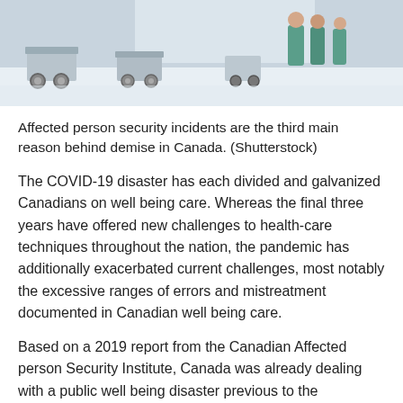[Figure (photo): Hospital hallway scene with medical equipment (wheelchairs/carts) in the foreground and healthcare workers in scrubs visible in the background.]
Affected person security incidents are the third main reason behind demise in Canada. (Shutterstock)
The COVID-19 disaster has each divided and galvanized Canadians on well being care. Whereas the final three years have offered new challenges to health-care techniques throughout the nation, the pandemic has additionally exacerbated current challenges, most notably the excessive ranges of errors and mistreatment documented in Canadian well being care.
Based on a 2019 report from the Canadian Affected person Security Institute, Canada was already dealing with a public well being disaster previous to the pandemic: a disaster of affected person security. Because the report